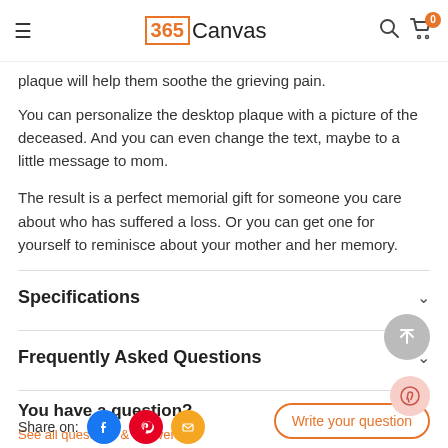365Canvas
plaque will help them soothe the grieving pain.
You can personalize the desktop plaque with a picture of the deceased. And you can even change the text, maybe to a little message to mom.
The result is a perfect memorial gift for someone you care about who has suffered a loss. Or you can get one for yourself to reminisce about your mother and her memory.
Specifications
Frequently Asked Questions
You have a question?
See all questions & answers
Share on: